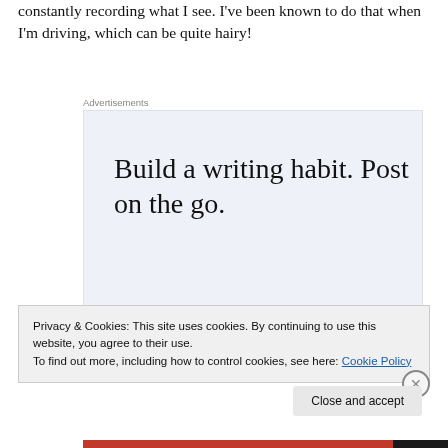constantly recording what I see. I've been known to do that when I'm driving, which can be quite hairy!
[Figure (screenshot): WordPress advertisement banner with text 'Build a writing habit. Post on the go.' and 'GET THE APP' call to action with WordPress logo icon, on a light blue-grey background.]
Privacy & Cookies: This site uses cookies. By continuing to use this website, you agree to their use.
To find out more, including how to control cookies, see here: Cookie Policy
Close and accept